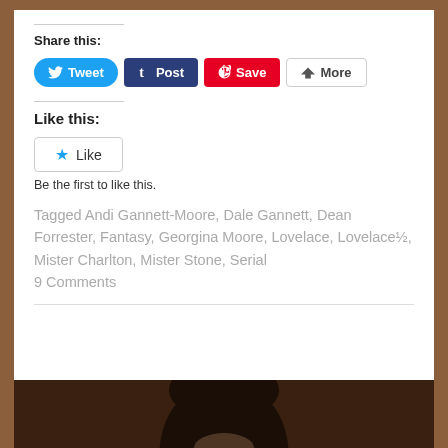Share this:
[Figure (other): Social sharing buttons: Tweet (blue), Post (dark navy), Save (red/Pinterest), More (white/grey outline)]
Like this:
[Figure (other): WordPress Like button with blue star icon and text 'Like']
Be the first to like this.
Tagged Andi Gannett-Moore, Dale Gannett, Dean Forrester, Fantasy, Georgina Moore, Lovelace, Lovelace½, Mister Charlton, Mister Stone, Serial 9 Comments
[Figure (photo): Bottom portion of a photo showing the top of a person's head with dark hair against a dark brown background]